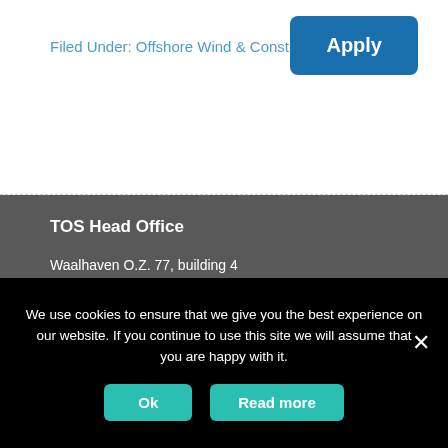Filed Under: Offshore Wind & Construction
Apply
TOS Head Office
Waalhaven O.Z. 77, building 4
Havennummer 2203a
3087 BM Rotterdam
P      +31 10 436 62 93
In case of emergencies,
crewing +31 6 5574 85 09
port & logistics +31 6 1001 68 17
We use cookies to ensure that we give you the best experience on our website. If you continue to use this site we will assume that you are happy with it.
Ok
Read more